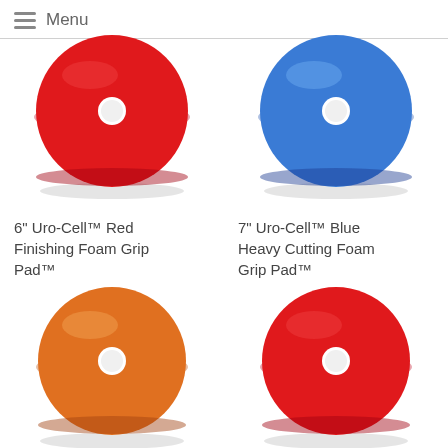Menu
[Figure (photo): 6 inch Uro-Cell Red Finishing Foam Grip Pad - circular red foam pad with white center hole, partially cropped at top]
6" Uro-Cell™ Red Finishing Foam Grip Pad™
[Figure (photo): 7 inch Uro-Cell Blue Heavy Cutting Foam Grip Pad - circular blue foam pad with white center hole, partially cropped at top]
7" Uro-Cell™ Blue Heavy Cutting Foam Grip Pad™
[Figure (photo): 7 inch Uro-Cell Orange Polishing Foam Grip Pad - circular orange foam pad with white center hole]
7" Uro-Cell™ Orange Polishing Foam Grip
[Figure (photo): 7 inch Uro-Cell Red Finishing Foam Grip Pad - circular red foam pad with white center hole]
7" Uro-Cell™ Red Finishing Foam Grip